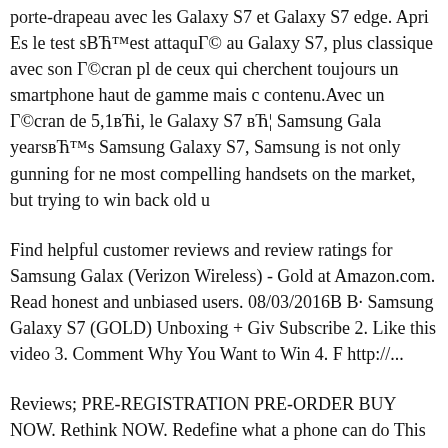porte-drapeau avec les Galaxy S7 et Galaxy S7 edge. Après le test s'est attaqué au Galaxy S7, plus classique avec son écran pl de ceux qui cherchent toujours un smartphone haut de gamme mais contenu.Avec un écran de 5,1», le Galaxy S7 … Samsung Gala years™s Samsung Galaxy S7, Samsung is not only gunning for ne most compelling handsets on the market, but trying to win back old u
Find helpful customer reviews and review ratings for Samsung Galax (Verizon Wireless) - Gold at Amazon.com. Read honest and unbiased users. 08/03/2016В В· Samsung Galaxy S7 (GOLD) Unboxing + Giv Subscribe 2. Like this video 3. Comment Why You Want to Win 4. F http://...
Reviews; PRE-REGISTRATION PRE-ORDER BUY NOW. Rethink NOW. Redefine what a phone can do This is what a perfect balance f Find out why Galaxy S7 edge and S7 are the best yet. Discover Gear Galaxy S7. It's not just a new phone. It brings a new way of thinking You defined the possibilities and we Galaxy S7 Review: Screen and Galaxy S7 is Samsung™s merciful inclusion of microSD memory you can finally carry a proper collection of music.